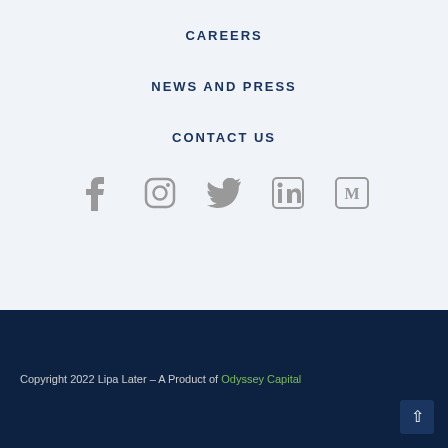CAREERS
NEWS AND PRESS
CONTACT US
[Figure (other): Social media icons row: Facebook, Instagram, Twitter, LinkedIn, Medium]
Copyright 2022 Lipa Later – A Product of Odyssey Capital